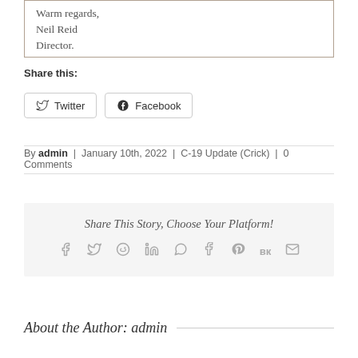Warm regards,
Neil Reid
Director.
Share this:
Twitter  Facebook
By admin | January 10th, 2022 | C-19 Update (Crick) | 0 Comments
Share This Story, Choose Your Platform!
About the Author: admin